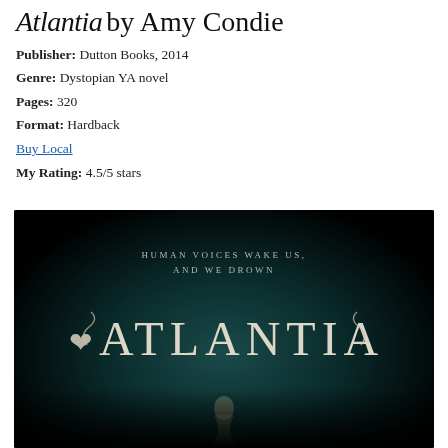Atlantia by Amy Condie
Publisher: Dutton Books, 2014
Genre: Dystopian YA novel
Pages: 320
Format: Hardback
Buy Local
My Rating: 4.5/5 stars
[Figure (photo): Book cover of Atlantia by Amy Condie — dark teal/black background with the tagline 'HUMAN VOICES WAKE US, AND WE DROWN' in small caps letters, and the word 'ATLANTIA' in large decorative serif font with ornamental flourishes. A partial figure (mermaid) is visible at the bottom.]